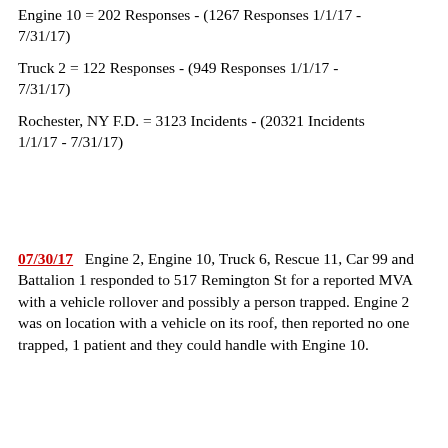Engine 10 = 202 Responses - (1267 Responses 1/1/17 - 7/31/17)
Truck 2 = 122 Responses - (949 Responses 1/1/17 - 7/31/17)
Rochester, NY F.D. = 3123 Incidents - (20321 Incidents 1/1/17 - 7/31/17)
07/30/17   Engine 2, Engine 10, Truck 6, Rescue 11, Car 99 and Battalion 1 responded to 517 Remington St for a reported MVA with a vehicle rollover and possibly a person trapped. Engine 2 was on location with a vehicle on its roof, then reported no one trapped, 1 patient and they could handle with Engine 10.